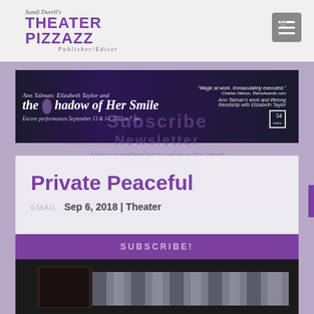Sandi Durell's Theater Pizzazz Publisher/Editor
[Figure (screenshot): Banner advertisement for 'Ann Talman: Elizabeth Taylor and the Shadow of Her Smile' at 54 Below, with encore performances September 13 & 14, 2022 at 7pm. Quote: 'Magic at work. Immaculately executed.' - Charles Nelson, RetroAwards.com]
Subscribe Newsletter
Join our mailing list to receive the latest Theater Pizzazz news.
Private Peaceful
EMAIL Sep 6, 2018 | Theater
[Figure (photo): Bottom strip showing partial view of a bed/cot with striped mattress in dark setting]
SUBSCRIBE!